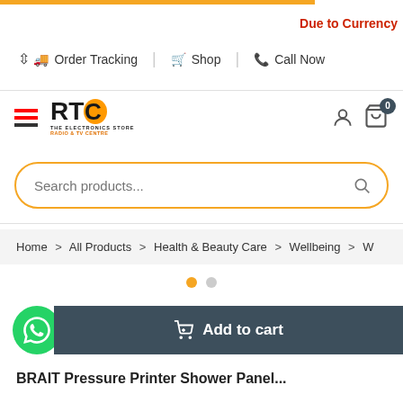Due to Currency
Order Tracking | Shop | Call Now
[Figure (logo): RTC The Electronics Store logo with hamburger menu icon]
Search products...
Home > All Products > Health & Beauty Care > Wellbeing > W
[Figure (other): Carousel pagination dots - one orange active dot and one grey inactive dot]
Add to cart
BRAIT Pressure Printer Shower Panel...